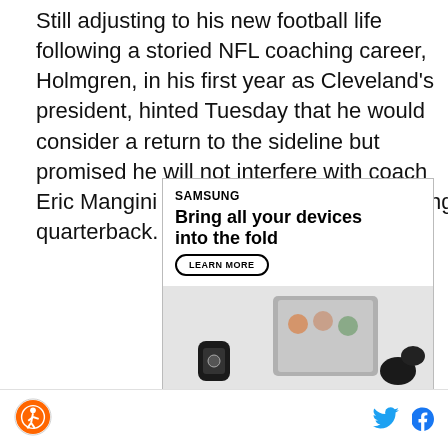Still adjusting to his new football life following a storied NFL coaching career, Holmgren, in his first year as Cleveland's president, hinted Tuesday that he would consider a return to the sideline but promised he will not interfere with coach Eric Mangini in picking the Browns' starting quarterback.
[Figure (screenshot): Samsung advertisement for Galaxy Z Fold4. Text reads: SAMSUNG, Bring all your devices into the fold, LEARN MORE button, Galaxy Z Fold4. Shows product images of the phone, a smartwatch, and earbuds. Disclaimer: Products sold separately. S Pen (optional) sold separately, compatible.]
Site logo | Twitter icon | Facebook icon